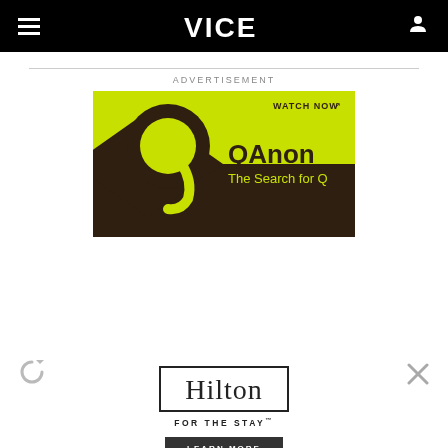VICE
ADVERTISEMENT
[Figure (screenshot): QAnon: The Search for Q advertisement banner with yellow-green and dark brown colors. Large stylized Q logo on left, 'QAnon The Search for Q' text on right, 'WATCH NOW^' in upper right corner.]
[Figure (logo): Hilton FOR THE STAY advertisement with Hilton logo in bordered box and 'LEARN MORE' dark button below.]